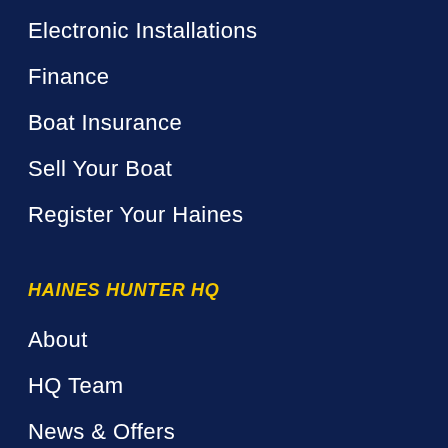Electronic Installations
Finance
Boat Insurance
Sell Your Boat
Register Your Haines
HAINES HUNTER HQ
About
HQ Team
News & Offers
Testimonials
Book a Factory Tour